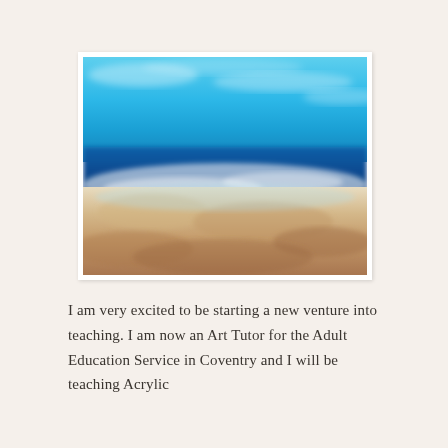[Figure (illustration): A blurred/impressionistic painting of a beach seascape. The top portion shows a bright turquoise and blue sky with hazy clouds. The middle section shows a deep blue ocean with white wave foam. The lower portion shows sandy beach with golden-brown and reddish-brown tones where water meets the shore.]
I am very excited to be starting a new venture into teaching. I am now an Art Tutor for the Adult Education Service in Coventry and I will be teaching Acrylic